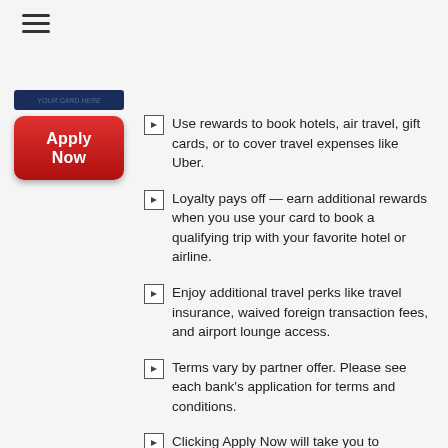[Figure (screenshot): Hamburger menu icon (three horizontal lines) in top-left]
[Figure (screenshot): Credit card image thumbnail in dark blue]
[Figure (screenshot): Red Apply Now button]
Use rewards to book hotels, air travel, gift cards, or to cover travel expenses like Uber.
Loyalty pays off — earn additional rewards when you use your card to book a qualifying trip with your favorite hotel or airline.
Enjoy additional travel perks like travel insurance, waived foreign transaction fees, and airport lounge access.
Terms vary by partner offer. Please see each bank's application for terms and conditions.
Clicking Apply Now will take you to CreditCards.com where you can compare Travel Rewards cards from